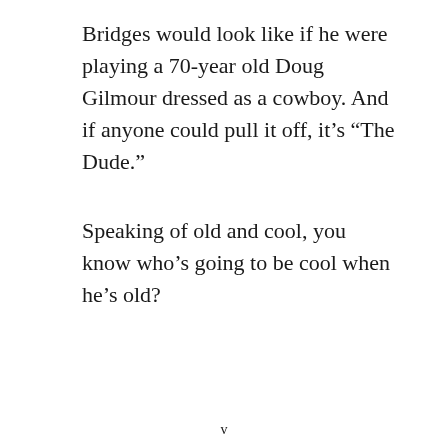Bridges would look like if he were playing a 70-year old Doug Gilmour dressed as a cowboy. And if anyone could pull it off, it’s “The Dude.”
Speaking of old and cool, you know who’s going to be cool when he’s old?
v